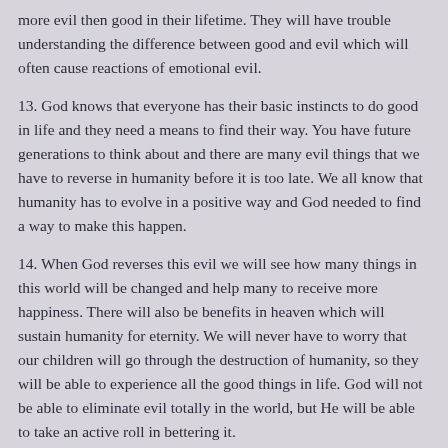more evil then good in their lifetime. They will have trouble understanding the difference between good and evil which will often cause reactions of emotional evil.
13. God knows that everyone has their basic instincts to do good in life and they need a means to find their way. You have future generations to think about and there are many evil things that we have to reverse in humanity before it is too late. We all know that humanity has to evolve in a positive way and God needed to find a way to make this happen.
14. When God reverses this evil we will see how many things in this world will be changed and help many to receive more happiness. There will also be benefits in heaven which will sustain humanity for eternity. We will never have to worry that our children will go through the destruction of humanity, so they will be able to experience all the good things in life. God will not be able to eliminate evil totally in the world, but He will be able to take an active roll in bettering it.
15. God has a vision of life that is much better once we can learn how to experience His miracles. So those that have fear of the future, will know that God is helping in every way He can. So this prophecy of the